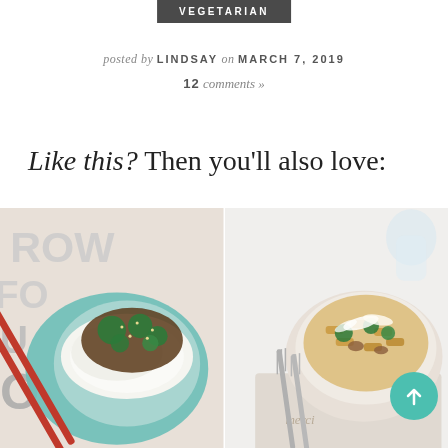VEGETARIAN
posted by LINDSAY on MARCH 7, 2019
12 comments »
Like this? Then you'll also love:
[Figure (photo): Bowl of beef and broccoli over white rice with chopsticks, on a teal plate, against a typographic cloth background]
[Figure (photo): Bowl of penne pasta with sausage, broccoli, and shaved parmesan, with forks on a linen napkin]